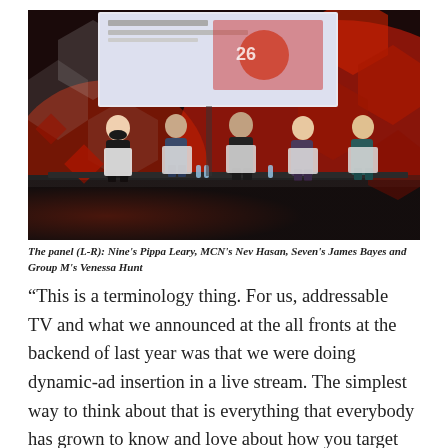[Figure (photo): A conference panel on a stage with red and black hexagonal decorations in the background. Five panelists are seated in white chairs on an elevated stage. A presentation screen is visible behind them.]
The panel (L-R): Nine's Pippa Leary, MCN's Nev Hasan, Seven's James Bayes and Group M's Venessa Hunt
“This is a terminology thing. For us, addressable TV and what we announced at the all fronts at the backend of last year was that we were doing dynamic-ad insertion in a live stream. The simplest way to think about that is everything that everybody has grown to know and love about how you target audiences on BVOD, we can now do in a live stream,” he said.